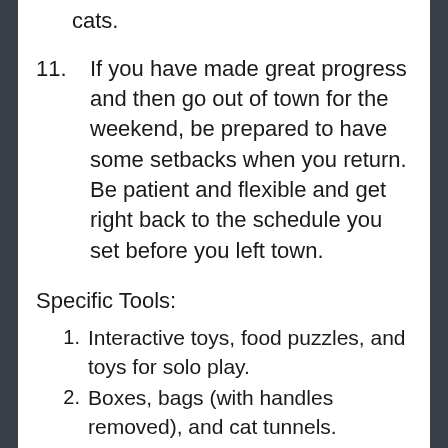cats.
11. If you have made great progress and then go out of town for the weekend, be prepared to have some setbacks when you return. Be patient and flexible and get right back to the schedule you set before you left town.
Specific Tools:
1. Interactive toys, food puzzles, and toys for solo play.
2. Boxes, bags (with handles removed), and cat tunnels.
3. Catnip, cat grass, silver vine, and valerian.
4. Timed feeder.
5. Bird feeder.
6. Radio/laptop/smartphone/iPad etc. (i.e. any device that plays music).